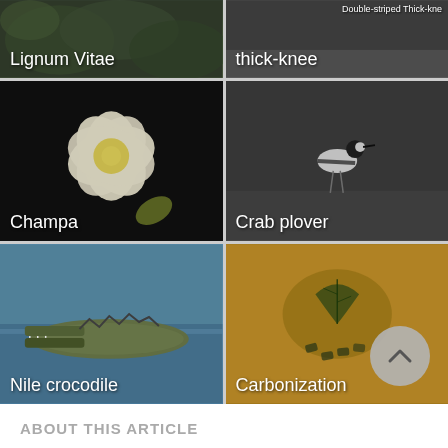[Figure (photo): Photo tile labeled 'Lignum Vitae' showing green foliage]
[Figure (photo): Photo tile labeled 'thick-knee' with watermark 'Double-striped Thick-knee', showing a bird]
[Figure (photo): Photo tile labeled 'Champa' showing a white and yellow frangipani flower on dark background]
[Figure (photo): Photo tile labeled 'Crab plover' showing a black and white bird standing in water]
[Figure (photo): Photo tile labeled 'Nile crocodile' showing a crocodile with open mouth in water]
[Figure (photo): Photo tile labeled 'Carbonization' showing a fossil or carbonized impression on golden-brown background]
ABOUT THIS ARTICLE